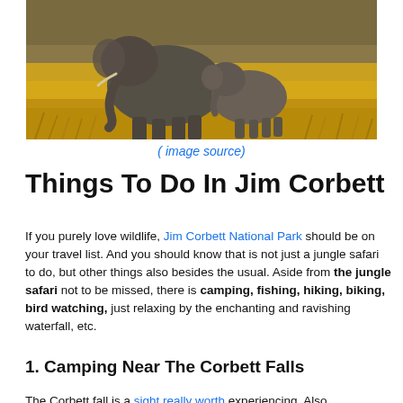[Figure (photo): Two elephants (adult and young) walking in dry grassland with golden dry grass in the foreground and background]
( image source)
Things To Do In Jim Corbett
If you purely love wildlife, Jim Corbett National Park should be on your travel list. And you should know that is not just a jungle safari to do, but other things also besides the usual. Aside from the jungle safari not to be missed, there is camping, fishing, hiking, biking, bird watching, just relaxing by the enchanting and ravishing waterfall, etc.
1. Camping Near The Corbett Falls
The Corbett fall is a sight really worth experiencing. Also